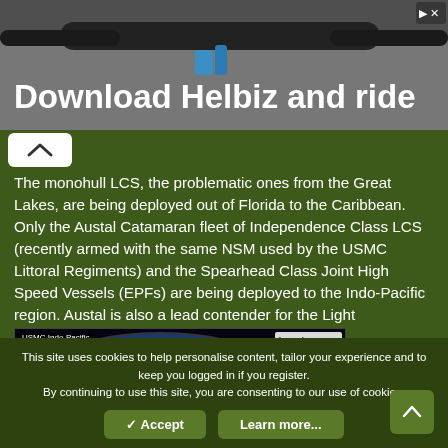[Figure (photo): Advertisement banner showing bicycle/scooter handlebars in background with text 'Download Helbiz and ride' in white bold font. Close button (X) in top right.]
The monohull LCS, the problematic ones from the Great Lakes, are being deployed out of Florida to the Caribbean. Only the Austal Catamaran fleet of Independence Class LCS (recently armed with the same NSM used by the USMC Littoral Regiments) and the Spearhead Class Joint High Speed Vessels (EPFs) are being deployed to the Indo-Pacific region. Austal is also a lead contender for the Light Amphibious Warship.
[Figure (map): Globe map showing USMC Indo-Pacific region with colored route lines (red, yellow, green, pink) overlaid on Asia-Pacific region. Black background. Legend in top right showing EPFs, LAW, LCS Independence, Spearhead Relay.]
This site uses cookies to help personalise content, tailor your experience and to keep you logged in if you register.
By continuing to use this site, you are consenting to our use of cookies.